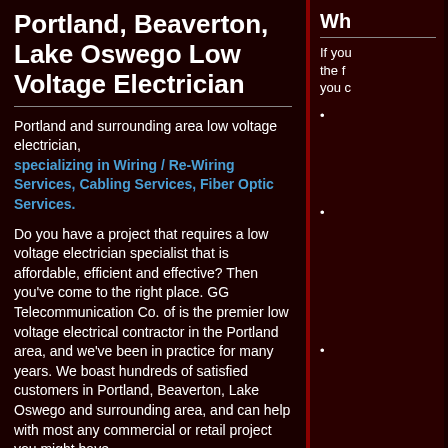Portland, Beaverton, Lake Oswego Low Voltage Electrician
Portland and surrounding area low voltage electrician, specializing in Wiring / Re-Wiring Services, Cabling Services, Fiber Optic Services.
Do you have a project that requires a low voltage electrician specialist that is affordable, efficient and effective? Then you've come to the right place. GG Telecommunication Co. of is the premier low voltage electrical contractor in the Portland area, and we've been in practice for many years. We boast hundreds of satisfied customers in Portland, Beaverton, Lake Oswego and surrounding area, and can help with most any commercial or retail project you might have.
Please feel free to look around this site for more details and answers to any questions you might have. If you don't find what you need, contact us, we'll be happy to help.
About a Portland Low Voltage Electrician
Wh
If you the f you c